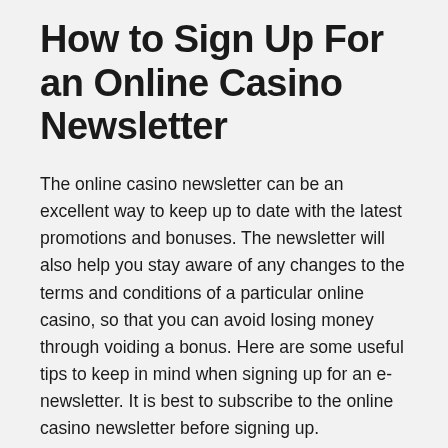How to Sign Up For an Online Casino Newsletter
The online casino newsletter can be an excellent way to keep up to date with the latest promotions and bonuses. The newsletter will also help you stay aware of any changes to the terms and conditions of a particular online casino, so that you can avoid losing money through voiding a bonus. Here are some useful tips to keep in mind when signing up for an e-newsletter. It is best to subscribe to the online casino newsletter before signing up.
First, look for a German-language support team and a good bonus offer. Make sure the online casino is legitimate and has been licensed. It should also have